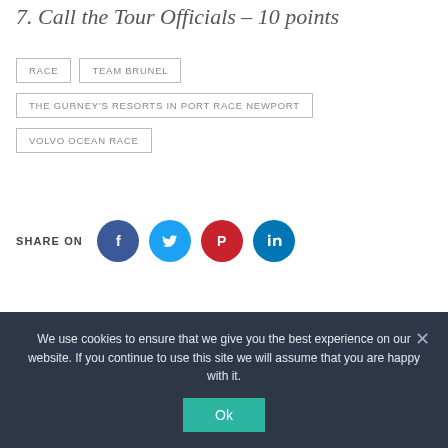7. Call the Tour Officials – 10 points
RACE
TEAM BRUNEL
THE GURNEY'S RESORTS IN PORT RACE NEWPORT
VOLVO OCEAN RACE
SHARE ON
[Figure (infographic): Social share buttons: Facebook (dark blue circle), Twitter (light blue circle), Pinterest (red circle), LinkedIn (mid blue circle)]
We use cookies to ensure that we give you the best experience on our website. If you continue to use this site we will assume that you are happy with it.
Ok